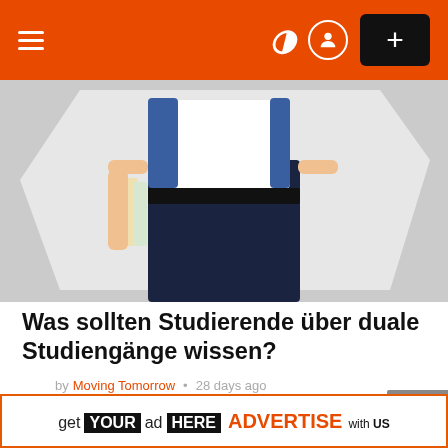Navigation bar with hamburger menu, moon/user icons, and + button
[Figure (photo): Student holding books, torso/lower body visible, wearing dark jeans and blue dotted shirt, on grey background with abstract white shape]
Was sollten Studierende über duale Studiengänge wissen?
by Moving Tomorrow • 28 days ago
[Figure (illustration): Orange circle with white flame/fire icon]
[Figure (photo): Partial view of a book or folder, bottom of page]
get YOUR ad HERE ADVERTISE with US